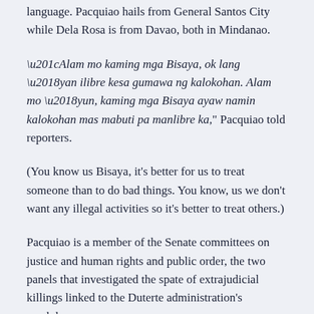language. Pacquiao hails from General Santos City while Dela Rosa is from Davao, both in Mindanao.
“Alam mo kaming mga Bisaya, ok lang ‘yan ilibre kesa gumawa ng kalokohan. Alam mo ‘yun, kaming mga Bisaya ayaw namin kalokohan mas mabuti pa manlibre ka,” Pacquiao told reporters.
(You know us Bisaya, it’s better for us to treat someone than to do bad things. You know, us we don’t want any illegal activities so it’s better to treat others.)
Pacquiao is a member of the Senate committees on justice and human rights and public order, the two panels that investigated the spate of extrajudicial killings linked to the Duterte administration’s crackdown.